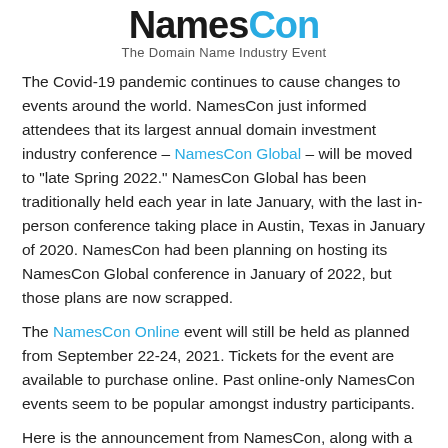[Figure (logo): NamesCon logo with black text 'Names' and cyan/blue text 'Con', tagline 'The Domain Name Industry Event']
The Covid-19 pandemic continues to cause changes to events around the world. NamesCon just informed attendees that its largest annual domain investment industry conference – NamesCon Global – will be moved to "late Spring 2022." NamesCon Global has been traditionally held each year in late January, with the last in-person conference taking place in Austin, Texas in January of 2020. NamesCon had been planning on hosting its NamesCon Global conference in January of 2022, but those plans are now scrapped.
The NamesCon Online event will still be held as planned from September 22-24, 2021. Tickets for the event are available to purchase online. Past online-only NamesCon events seem to be popular amongst industry participants.
Here is the announcement from NamesCon, along with a discount code link organizers shared for the upcoming virtual event: